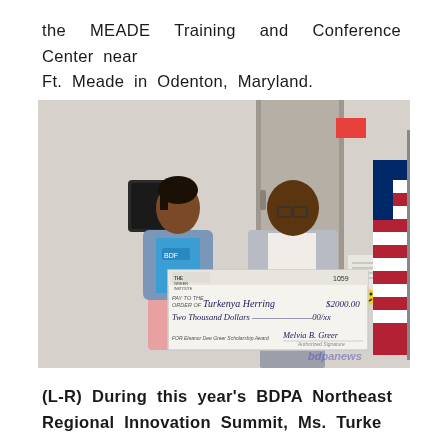the MEADE Training and Conference Center near Ft. Meade in Odenton, Maryland.
[Figure (photo): Two people holding a large ceremonial check made out to Turkenya Herring for $2000.00, Two Thousand Dollars, for the Eleanor Dee Greer Scholarship Award, signed by Melvia B. Greer. A US flag is visible in the background. Watermark reads bdpanews.]
(L-R) During this year's BDPA Northeast Regional Innovation Summit, Ms. Turke...